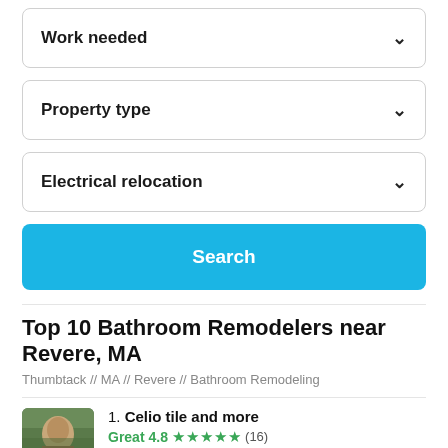Work needed
Property type
Electrical relocation
Search
Top 10 Bathroom Remodelers near Revere, MA
Thumbtack // MA // Revere // Bathroom Remodeling
1. Celio tile and more
Great 4.8 ★★★★★ (16)